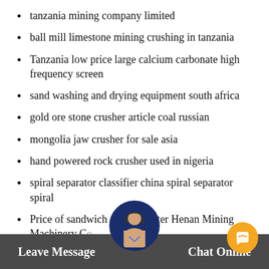tanzania mining company limited
ball mill limestone mining crushing in tanzania
Tanzania low price large calcium carbonate high frequency screen
sand washing and drying equipment south africa
gold ore stone crusher article coal russian
mongolia jaw crusher for sale asia
hand powered rock crusher used in nigeria
spiral separator classifier china spiral separator spiral
Price of sandwich maker toaster Henan Mining Machinery Co...
Earls colne england mill Henan Mining Machinery Co Ltd
Leave Message    Chat Online